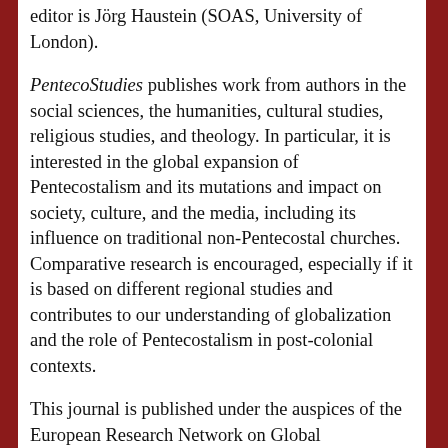editor is Jörg Haustein (SOAS, University of London).
PentecoStudies publishes work from authors in the social sciences, the humanities, cultural studies, religious studies, and theology. In particular, it is interested in the global expansion of Pentecostalism and its mutations and impact on society, culture, and the media, including its influence on traditional non-Pentecostal churches. Comparative research is encouraged, especially if it is based on different regional studies and contributes to our understanding of globalization and the role of Pentecostalism in post-colonial contexts.
This journal is published under the auspices of the European Research Network on Global Pentecostalism (GloPent), which brings together hundreds of scholars from across the world who are researching Pentecostal and Charismatic movements. Each issue consists of five articles and book reviews, and special thematic issues are published regularly. PentecoStudies welcomes submissions from authors in any discipline working in the field of Pentecostal and Charismatic movements. Articles will be accepted subject to standard peer-